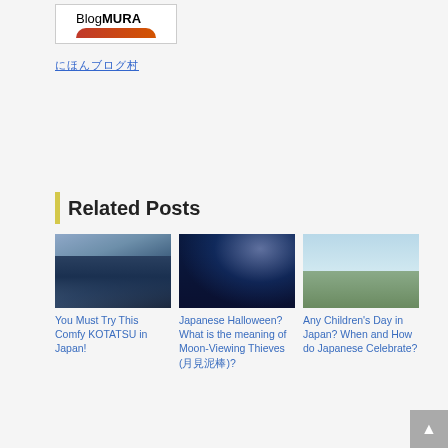[Figure (logo): BlogMURA logo - white box with 'BlogMURA' text and red curved shape below]
にほんブログ村
Related Posts
[Figure (photo): Interior room with kotatsu (Japanese heated table) and blue bedding]
You Must Try This Comfy KOTATSU in Japan!
[Figure (photo): Night sky with stars, tree silhouette and wolf/dog silhouette]
Japanese Halloween? What is the meaning of Moon-Viewing Thieves (月見泥棒)?
[Figure (photo): Four children seen from behind looking at horizon]
Any Children's Day in Japan? When and How do Japanese Celebrate?